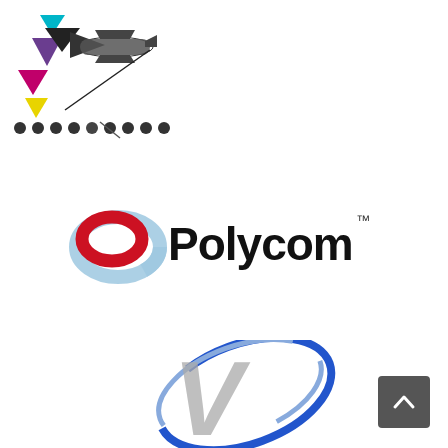[Figure (logo): Abstract geometric logo with colorful triangles (cyan, purple, magenta, yellow, dark) arranged in a pattern with decorative ornamental aircraft/flourish element in black, and dotted text below]
[Figure (logo): Polycom logo: two overlapping rings (red and light blue) forming a swoosh/globe icon, followed by the word Polycom in bold black sans-serif with trademark symbol]
[Figure (logo): V logo: large grey italic V letter with blue swoosh/orbit ring wrapping around it, partial view at bottom of page]
[Figure (other): Dark grey rounded square scroll-to-top button with white upward-pointing chevron arrow]